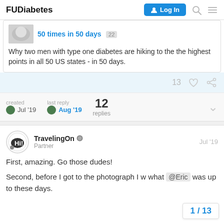FUDiabetes | Log In
50 times in 50 days 22
Why two men with type one diabetes are hiking to the the highest points in all 50 US states - in 50 days.
13 likes · share
created Jul '19   last reply Aug '19   12 replies
TravelingOn Partner   Jul '19
First, amazing. Go those dudes!
Second, before I got to the photograph I w what @Eric was up to these days.
1 / 13